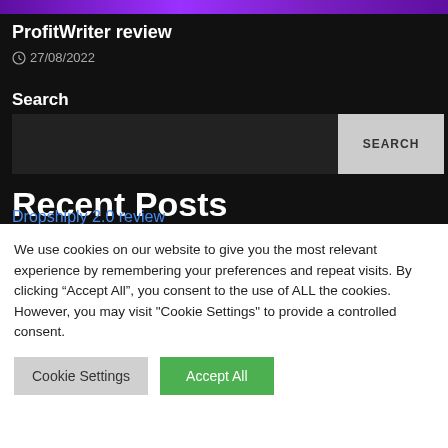[Figure (illustration): Purple gradient banner image at top of page]
ProfitWriter review
27/08/2022
Search
Recent Posts
Dropshiply 2.0 review
We use cookies on our website to give you the most relevant experience by remembering your preferences and repeat visits. By clicking “Accept All”, you consent to the use of ALL the cookies. However, you may visit "Cookie Settings" to provide a controlled consent.
Cookie Settings | Accept All